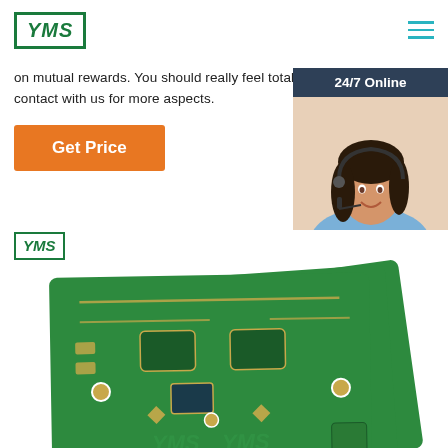[Figure (logo): YMS logo - green bordered rectangle with italic bold YMS text]
on mutual rewards. You should really feel totally free to make contact with us for more aspects.
[Figure (infographic): 24/7 Online chat widget with photo of woman with headset, 'Click here for free chat!' text, and orange QUOTATION button]
[Figure (other): Orange Get Price button]
[Figure (photo): Green PCB circuit boards stacked, with small YMS logo overlay]